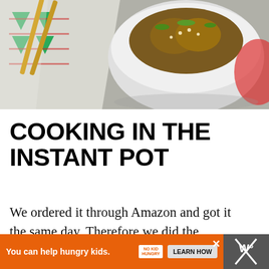[Figure (photo): Overhead photo of a white bowl containing food (teriyaki pork with rice and green onions), chopsticks resting on a patterned fabric napkin, on a light surface]
COOKING IN THE INSTANT POT
We ordered it through Amazon and got it the same day. Therefore we did the pressure test then moved on to make jasmine rice for this Instant Pot Teriyaki Pork.
[Figure (infographic): Orange advertisement banner: 'You can help hungry kids.' with No Kid Hungry logo and LEARN HOW button, with X close button]